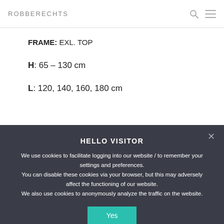ROBBERECHTS
FRAME: EXL. TOP
H: 65 – 130 cm
L: 120, 140, 160, 180 cm
HELLO VISITOR
We use cookies to facilitate logging into our website / to remember your settings and preferences.
You can disable these cookies via your browser, but this may adversely affect the functioning of our website.
We also use cookies to anonymously analyze the traffic on the website.
Yes